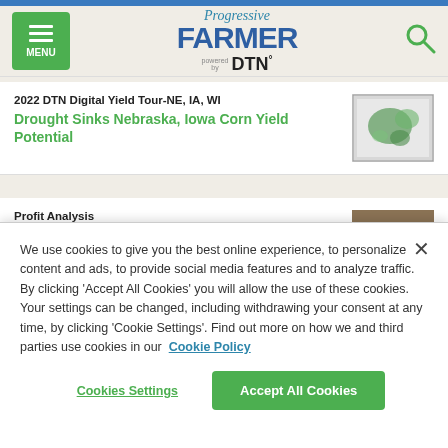Progressive FARMER powered by DTN
2022 DTN Digital Yield Tour-NE, IA, WI
Drought Sinks Nebraska, Iowa Corn Yield Potential
[Figure (map): Satellite/yield map of corn fields in NE, IA, WI showing drought conditions]
Profit Analysis
Lower Profit Cow-Calf Operations Have
[Figure (photo): Photo of cattle in a field]
We use cookies to give you the best online experience, to personalize content and ads, to provide social media features and to analyze traffic. By clicking ‘Accept All Cookies’ you will allow the use of these cookies. Your settings can be changed, including withdrawing your consent at any time, by clicking ‘Cookie Settings’. Find out more on how we and third parties use cookies in our  Cookie Policy
Cookies Settings
Accept All Cookies